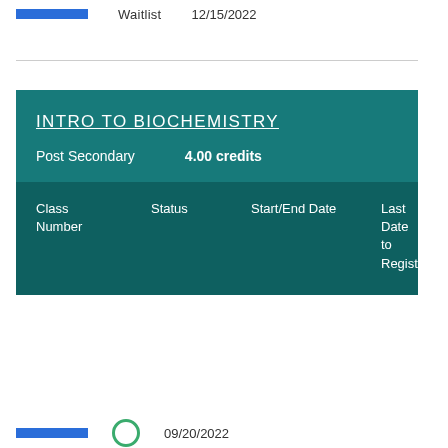Waitlist   12/15/2022
| Class Number | Status | Start/End Date | Last Date to Register |
| --- | --- | --- | --- |
INTRO TO BIOCHEMISTRY
Post Secondary   4.00 credits
09/20/2022